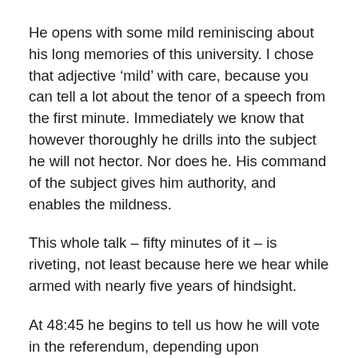He opens with some mild reminiscing about his long memories of this university. I chose that adjective 'mild' with care, because you can tell a lot about the tenor of a speech from the first minute. Immediately we know that however thoroughly he drills into the subject he will not hector. Nor does he. His command of the subject gives him authority, and enables the mildness.
This whole talk – fifty minutes of it – is riveting, not least because here we hear while armed with nearly five years of hindsight.
At 48:45 he begins to tell us how he will vote in the referendum, depending upon circumstances in the mean time. With hindsight we know what those circumstances turned out to be, and therefore how he probably voted. But what about his opinion relevant to today? This interview is